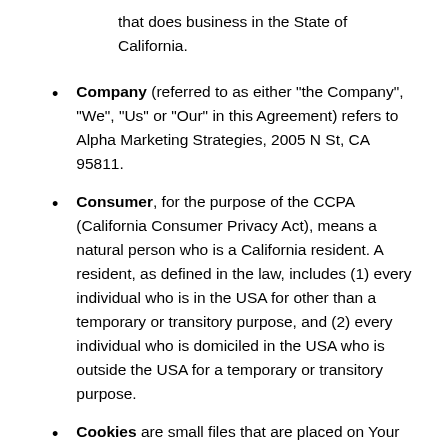that does business in the State of California.
Company (referred to as either "the Company", "We", "Us" or "Our" in this Agreement) refers to Alpha Marketing Strategies, 2005 N St, CA 95811.
Consumer, for the purpose of the CCPA (California Consumer Privacy Act), means a natural person who is a California resident. A resident, as defined in the law, includes (1) every individual who is in the USA for other than a temporary or transitory purpose, and (2) every individual who is domiciled in the USA who is outside the USA for a temporary or transitory purpose.
Cookies are small files that are placed on Your